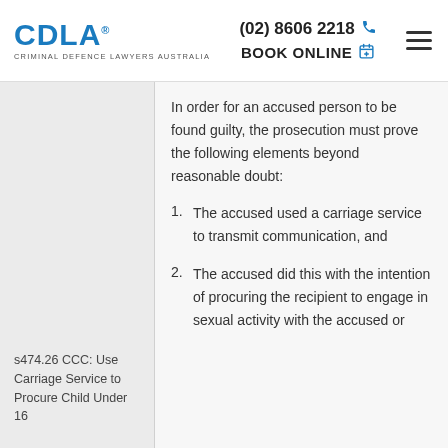CDLA® CRIMINAL DEFENCE LAWYERS AUSTRALIA | (02) 8606 2218 | BOOK ONLINE
In order for an accused person to be found guilty, the prosecution must prove the following elements beyond reasonable doubt:
1. The accused used a carriage service to transmit communication, and
2. The accused did this with the intention of procuring the recipient to engage in sexual activity with the accused or
s474.26 CCC: Use Carriage Service to Procure Child Under 16